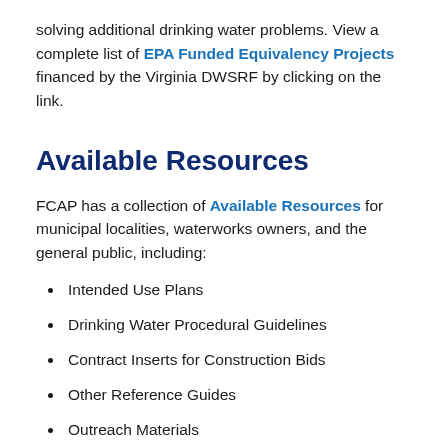solving additional drinking water problems. View a complete list of EPA Funded Equivalency Projects financed by the Virginia DWSRF by clicking on the link.
Available Resources
FCAP has a collection of Available Resources for municipal localities, waterworks owners, and the general public, including:
Intended Use Plans
Drinking Water Procedural Guidelines
Contract Inserts for Construction Bids
Other Reference Guides
Outreach Materials